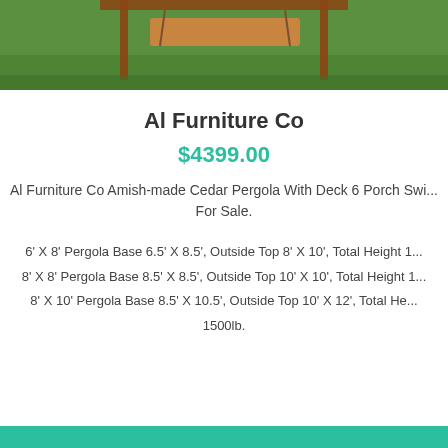[Figure (photo): Photo of an Amish-made Cedar Pergola with deck and porch swing on a green grass background, partially cropped at top]
Al Furniture Co
$4399.00
Al Furniture Co Amish-made Cedar Pergola With Deck 6 Porch Swi... For Sale.
6' X 8' Pergola Base 6.5' X 8.5', Outside Top 8' X 10', Total Height 1...
8' X 8' Pergola Base 8.5' X 8.5', Outside Top 10' X 10', Total Height 1...
8' X 10' Pergola Base 8.5' X 10.5', Outside Top 10' X 12', Total He...
1500lb.